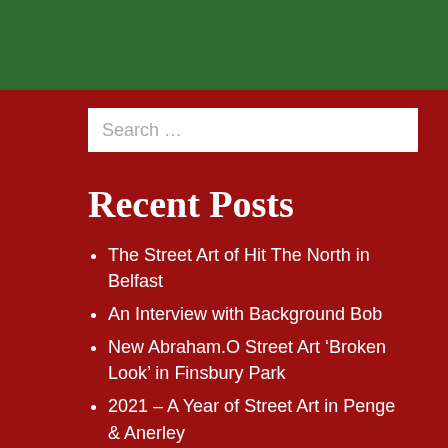Search …
Recent Posts
The Street Art of Hit The North in Belfast
An Interview with Background Bob
New Abraham.O Street Art 'Broken Look' in Finsbury Park
2021 – A Year of Street Art in Penge & Anerley
2021 – A Year of Street Art & Graffiti around London